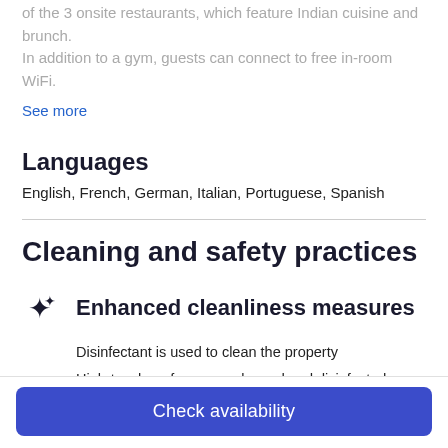of the 3 onsite restaurants, which feature Indian cuisine and brunch. In addition to a gym, guests can connect to free in-room WiFi.
See more
Languages
English, French, German, Italian, Portuguese, Spanish
Cleaning and safety practices
Enhanced cleanliness measures
Disinfectant is used to clean the property
High-touch surfaces are cleaned and disinfected
Sheets and towels are washed at 60°C/140°F or hotter
Follows standard cleaning and disinfection practices of
Check availability